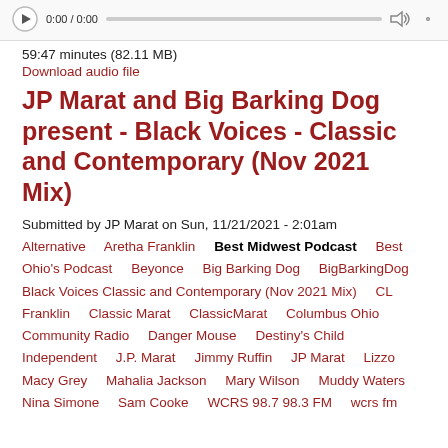[Figure (other): Audio player bar with play button, progress bar, volume icon and time display showing 0:00 / 0:00]
59:47 minutes (82.11 MB)
Download audio file
JP Marat and Big Barking Dog present - Black Voices - Classic and Contemporary (Nov 2021 Mix)
Submitted by JP Marat on Sun, 11/21/2021 - 2:01am
Alternative    Aretha Franklin    Best Midwest Podcast    Best Ohio's Podcast    Beyonce    Big Barking Dog    BigBarkingDog    Black Voices Classic and Contemporary (Nov 2021 Mix)    CL Franklin    Classic Marat    ClassicMarat    Columbus Ohio Community Radio    Danger Mouse    Destiny's Child    Independent    J.P. Marat    Jimmy Ruffin    JP Marat    Lizzo    Macy Grey    Mahalia Jackson    Mary Wilson    Muddy Waters    Nina Simone    Sam Cooke    WCRS 98.7 98.3 FM    wcrs fm